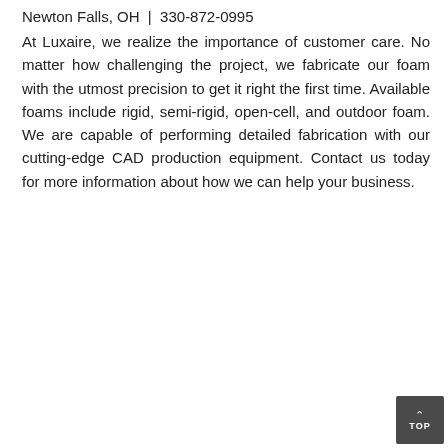Newton Falls, OH  |  330-872-0995
At Luxaire, we realize the importance of customer care. No matter how challenging the project, we fabricate our foam with the utmost precision to get it right the first time. Available foams include rigid, semi-rigid, open-cell, and outdoor foam. We are capable of performing detailed fabrication with our cutting-edge CAD production equipment. Contact us today for more information about how we can help your business.